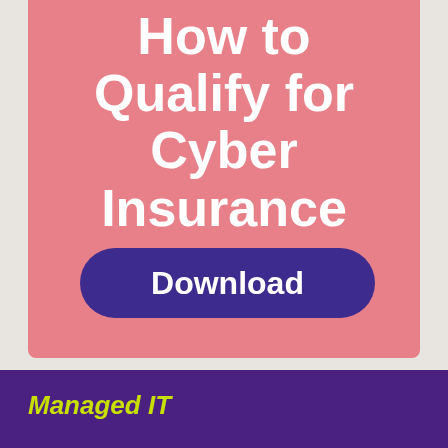How to Qualify for Cyber Insurance
Download
Managed IT